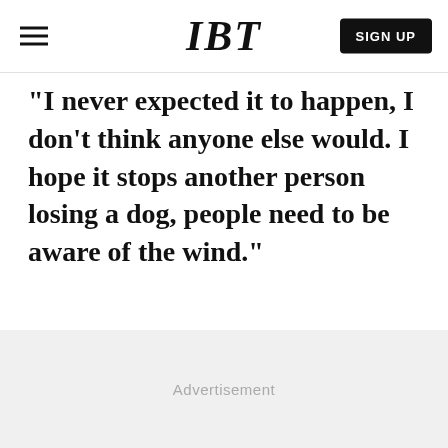IBT | SIGN UP
"I never expected it to happen, I don't think anyone else would. I hope it stops another person losing a dog, people need to be aware of the wind."
Advertisement